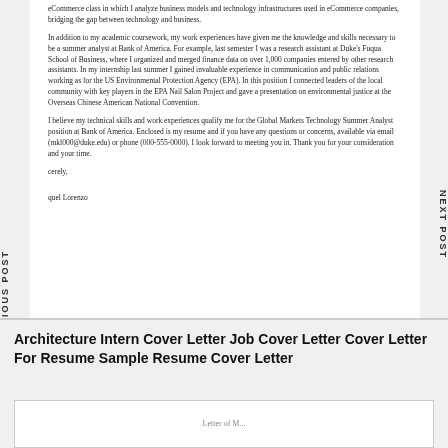eCommerce class in which I analyze business models and technology infrastructures used in eCommerce companies, bridging the gap between technology and business.
In addition to my academic coursework, my work experiences have given me the knowledge and skills necessary to be a summer analyst at Bank of America. For example, last semester I was a research assistant at Duke's Fuqua School of Business, where I organized and merged finance data on over 1,000 companies entered by other research assistants. In my internship last summer I gained invaluable experience in communication and public relations working as for the US Environmental Protection Agency (EPA). In this position I connected leaders of the local community with key players in the EPA Nail Salon Project and gave a presentation on environmental justice at the Overseas Chinese American National Convention.
I believe my technical skills and work experiences qualify me for the Global Markets Technology Summer Analyst position at Bank of America. Enclosed is my resume and if you have any questions or concerns, available via email (mkl000@duke.edu) or phone (000-555-0000). I look forward to meeting you in. Thank you for your consideration and your time.
cerely,
quel Lorenzo
PREVIOUS POST
NEXT POST
Architecture Intern Cover Letter Job Cover Letter Cover Letter For Resume Sample Resume Cover Letter